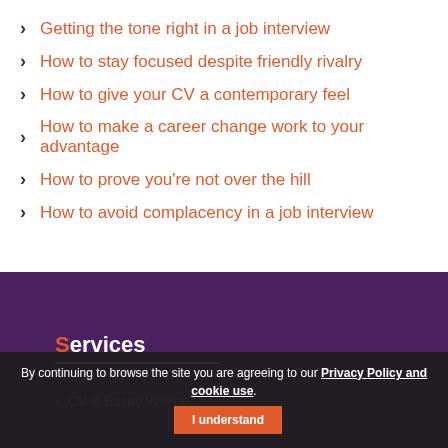Getting the tone right in a job interview
How to stay focused despite friendly rivalry
How to give your CV a contemporary feel
How to make a career change work to your advantage
How to prove you're not over the hill
How to avoid complacency in a job interview
Services
CV & Essay Writing...
By continuing to browse the site you are agreeing to our Privacy Policy and cookie use. I understand